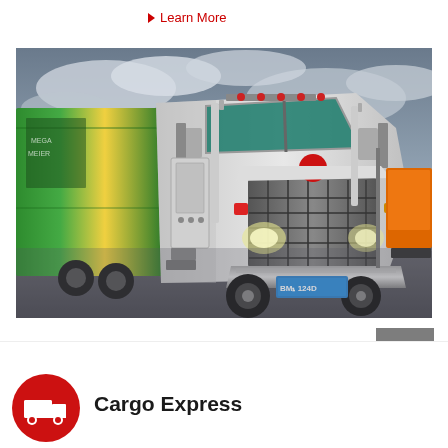▶ Learn More
[Figure (photo): A large white Peterbilt semi-truck with a green and yellow decorated trailer, photographed from a low front angle at a parking/truck stop. License plate reads BM 1124D. An orange truck container is visible in the background right. Dramatic cloudy sky overhead.]
[Figure (other): Grey square button with a red upward-pointing chevron/arrow icon, used as a back-to-top navigation button.]
[Figure (logo): Round red icon with a white delivery truck silhouette, used as a Cargo Express logo/icon.]
Cargo Express